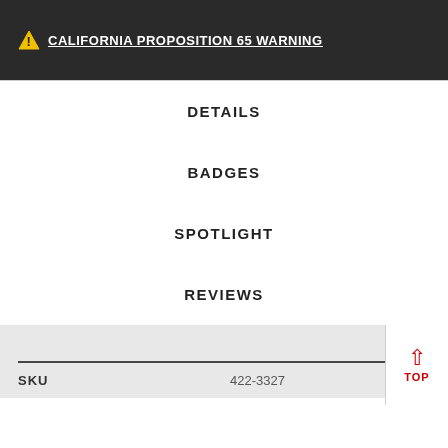⚠ CALIFORNIA PROPOSITION 65 WARNING
DETAILS
BADGES
SPOTLIGHT
REVIEWS
| SKU | 422-3327 |
| --- | --- |